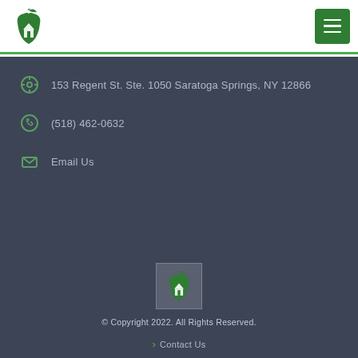[Figure (logo): Green apple with house/school icon logo in white header]
[Figure (other): Green hamburger menu button in top right corner]
153 Regent St. Ste. 1050 Saratoga Springs, NY 12866
(518) 462-0632
Email Us
[Figure (logo): Small green apple with house/school icon logo in footer area]
© Copyright 2022. All Rights Reserved.
Contact Us